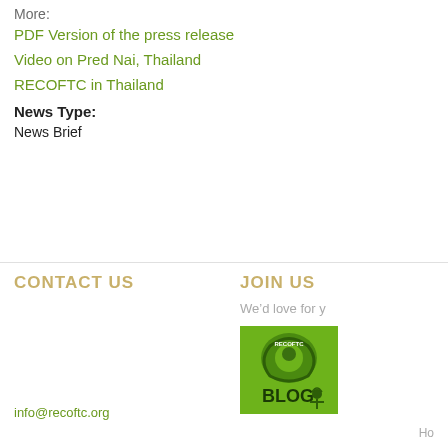More:
PDF Version of the press release
Video on Pred Nai, Thailand
RECOFTC in Thailand
News Type:
News Brief
CONTACT US
JOIN US
We'd love for y
[Figure (logo): RECOFTC Blog logo — green square with tree/hands graphic and 'RECOFTC BLOG' text]
info@recoftc.org
Ho